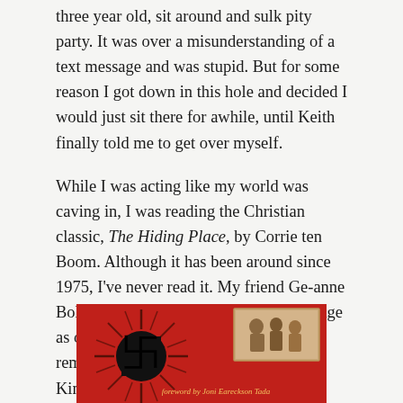three year old, sit around and sulk pity party. It was over a misunderstanding of a text message and was stupid. But for some reason I got down in this hole and decided I would just sit there for awhile, until Keith finally told me to get over myself.
While I was acting like my world was caving in, I was reading the Christian classic, The Hiding Place, by Corrie ten Boom. Although it has been around since 1975, I've never read it. My friend Ge-anne Bolhuis had listed it on her FaceBook page as one of her favorite books and I remembered that I had gotten it as a free Kindle book two years ago.
[Figure (photo): Book cover of The Hiding Place showing a red background with a Nazi swastika symbol on the left and a vintage photograph of people on the right, with text 'foreword by Joni Eareckson Tada' at the bottom]